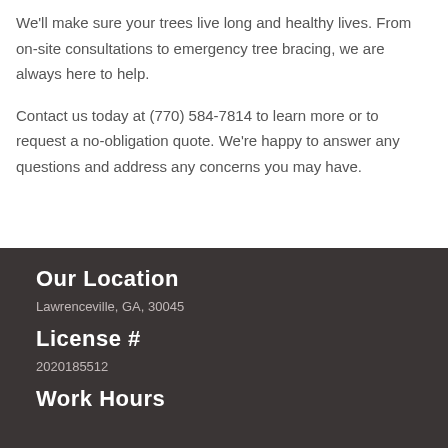We'll make sure your trees live long and healthy lives. From on-site consultations to emergency tree bracing, we are always here to help.
Contact us today at (770) 584-7814 to learn more or to request a no-obligation quote. We're happy to answer any questions and address any concerns you may have.
Our Location
Lawrenceville, GA, 30045
License #
2020185512
Work Hours